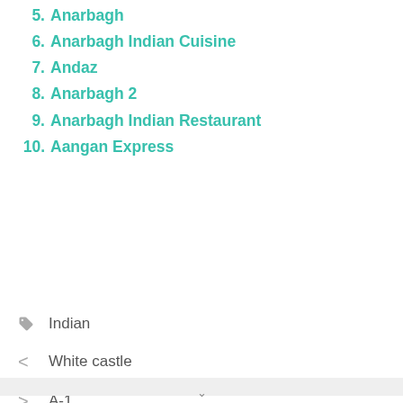5. Anarbagh
6. Anarbagh Indian Cuisine
7. Andaz
8. Anarbagh 2
9. Anarbagh Indian Restaurant
10. Aangan Express
Indian
< White castle
> A-1